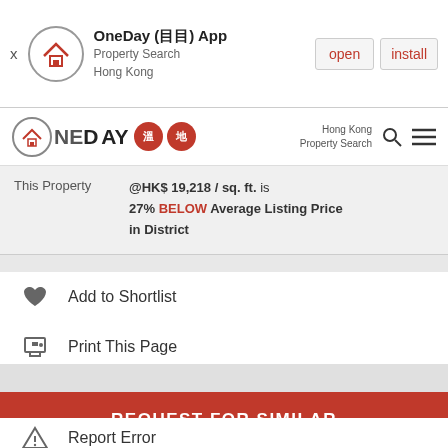[Figure (screenshot): App install banner for OneDay (目目) App - Property Search Hong Kong with open and install buttons]
OneDay (目目) App Property Search Hong Kong
This Property @HK$ 19,218 / sq. ft. is 27% BELOW Average Listing Price in District
Add to Shortlist
Print This Page
Email a Friend
Report Error
REQUEST FOR SIMILAR